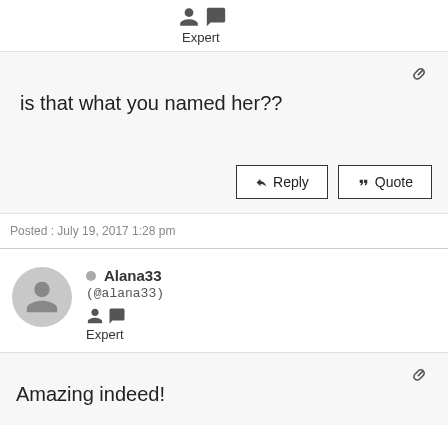[Figure (other): User icons - person and speech bubble]
Expert
[Figure (other): Link/chain icon]
is that what you named her??
Reply
Quote
Posted : July 19, 2017 1:28 pm
[Figure (other): User avatar - generic person silhouette in grey circle]
Alana33
(@alana33)
[Figure (other): User icons - person and speech bubble]
Expert
[Figure (other): Link/chain icon]
Amazing indeed!